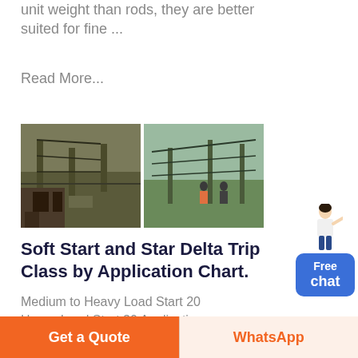unit weight than rods, they are better suited for fine ...
Read More...
[Figure (photo): Two side-by-side construction/mining site photos showing industrial structures with scaffolding, conveyor belts, and workers]
Soft Start and Star Delta Trip Class by Application Chart.
Medium to Heavy Load Start 20
Heavy Load Start 30 Application
Trip Class Agitator 10 Air
Compressor – Equalised (low start
Free chat
Get a Quote
WhatsApp